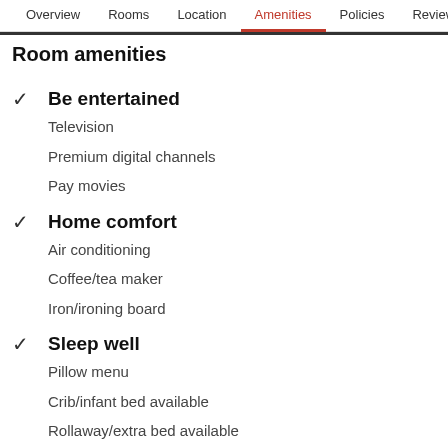Overview  Rooms  Location  Amenities  Policies  Reviews
Room amenities
Be entertained
Television
Premium digital channels
Pay movies
Home comfort
Air conditioning
Coffee/tea maker
Iron/ironing board
Sleep well
Pillow menu
Crib/infant bed available
Rollaway/extra bed available
Bed sheets provided